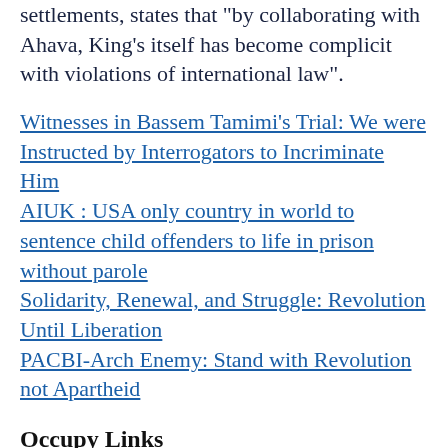settlements, states that "by collaborating with Ahava, King's itself has become complicit with violations of international law".
Witnesses in Bassem Tamimi's Trial: We were Instructed by Interrogators to Incriminate Him
AIUK : USA only country in world to sentence child offenders to life in prison without parole
Solidarity, Renewal, and Struggle: Revolution Until Liberation
PACBI-Arch Enemy: Stand with Revolution not Apartheid
Occupy Links
Egypt rights group goes after gov't